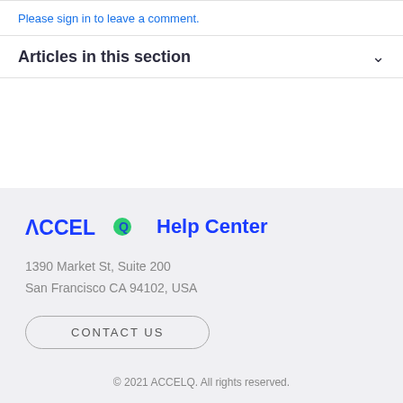Please sign in to leave a comment.
Articles in this section
[Figure (logo): ACCELQ Help Center logo with green circular icon]
1390 Market St, Suite 200
San Francisco CA 94102, USA
CONTACT US
© 2021 ACCELQ. All rights reserved.